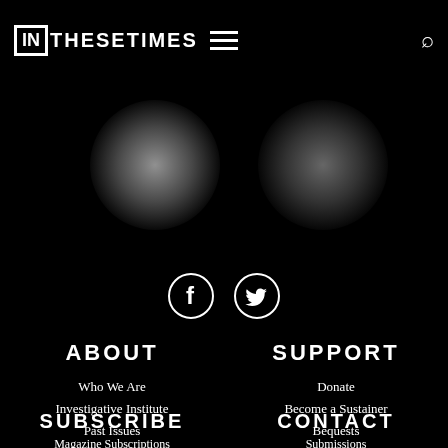IN THESE TIMES
[Figure (photo): Black background with two blurred glowing white/grey circular shapes, resembling out-of-focus portrait photos]
[Figure (illustration): Facebook and Twitter social media icons in white circle outlines on black background]
ABOUT
Who We Are
Investigative Institute
Past Issues
Privacy Policy
SUPPORT
Donate
Become a Sustainer
Bequests
Advertise
SUBSCRIBE
Magazine Subscriptions
CONTACT
Submissions